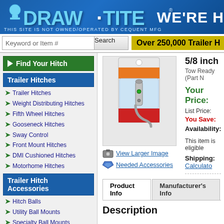[Figure (logo): Draw-Tite logo with blue banner header and 'WE'RE' text on right]
THIS SITE IS NOT OWNED/OPERATED BY CEQUENT MFG
Keyword or Item #  Search  Over 250,000 Trailer H
Find Your Hitch
Trailer Hitches
Trailer Hitches
Weight Distributing Hitches
Fifth Wheel Hitches
Gooseneck Hitches
Sway Control
Front Mount Hitches
DMI Cushioned Hitches
Motorhome Hitches
Trailer Hitch Accessories
Hitch Balls
Utility Ball Mounts
Specialty Ball Mounts
Locks, Pins & Clips
Towing Starter Kits
Hitch Tube Covers
Pintle Hooks & Lunette Rings
Extensions, Adapters &
5/8 inch Ex
Tow Ready (Part N
Your Price:
List Price:
You Save:
Availability:
[Figure (photo): Product photo of 5/8 inch hitch lock pin on retail blister packaging]
View Larger Image
Needed Accessories
This item is eligible
Shipping: Calculato
Product Info
Manufacturer's Info
Description